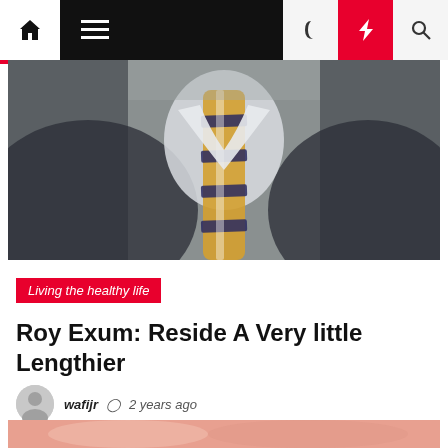Navigation bar with home, menu, moon, bolt, search icons
[Figure (photo): Cropped photo of a man in a dark suit jacket wearing a yellow and navy striped tie with a white dress shirt]
Living the healthy life
Roy Exum: Reside A Very little Lengthier
wafijr  2 years ago
[Figure (photo): Partial view of another image at the bottom of the page with pinkish-red tones]